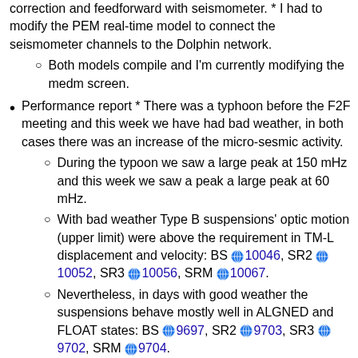correction and feedforward with seismometer. * I had to modify the PEM real-time model to connect the seismometer channels to the Dolphin network.
Both models compile and I'm currently modifying the medm screen.
Performance report * There was a typhoon before the F2F meeting and this week we have had bad weather, in both cases there was an increase of the micro-sesmic activity.
During the typoon we saw a large peak at 150 mHz and this week we saw a peak a large peak at 60 mHz.
With bad weather Type B suspensions' optic motion (upper limit) were above the requirement in TM-L displacement and velocity: BS 10046, SR2 10052, SR3 10056, SRM 10067.
Nevertheless, in days with good weather the suspensions behave mostly well in ALGNED and FLOAT states: BS 9697, SR2 9703, SR3 9702, SRM 9704.
I also found the vertical ground motion induces motion in TM-Y and TM-P, but even with bad weather the motion remain below the requirement.
With this bad weather I was able to measure transfer functions from the ground to (klog 10170).